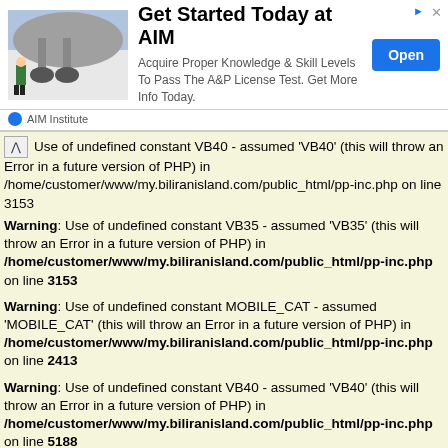[Figure (infographic): Advertisement banner for AIM Institute showing airplane undercarriage photo, text 'Get Started Today at AIM', description about A&P License Test, and an Open button.]
Use of undefined constant VB40 - assumed 'VB40' (this will throw an Error in a future version of PHP) in /home/customer/www/my.biliranisland.com/public_html/pp-inc.php on line 3153
Warning: Use of undefined constant VB35 - assumed 'VB35' (this will throw an Error in a future version of PHP) in /home/customer/www/my.biliranisland.com/public_html/pp-inc.php on line 3153
Warning: Use of undefined constant MOBILE_CAT - assumed 'MOBILE_CAT' (this will throw an Error in a future version of PHP) in /home/customer/www/my.biliranisland.com/public_html/pp-inc.php on line 2413
Warning: Use of undefined constant VB40 - assumed 'VB40' (this will throw an Error in a future version of PHP) in /home/customer/www/my.biliranisland.com/public_html/pp-inc.php on line 5188
Warning: Use of undefined constant VB40 - assumed 'VB40' (this will throw an Error in a future version of PHP) in /home/customer/www/my.biliranisland.com/public_html/pp-inc.php on line 3153